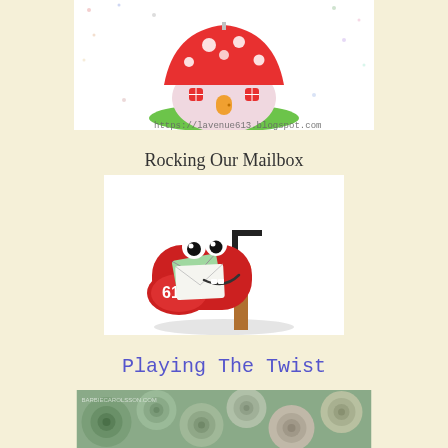[Figure (illustration): Cute cartoon mushroom house with red polka-dot cap, pink walls, orange door and windows, green grass, on a white background with small colorful dots. URL text: https://lavenue613.blogspot.com]
[Figure (illustration): Red cartoon mailbox with googly eyes, smiling face holding envelopes, number 613 on front, on a post. Title above reads 'Rocking Our Mailbox']
Rocking Our Mailbox
Playing The Twist
[Figure (photo): Close-up photo of green and pink succulent plants packed tightly together]